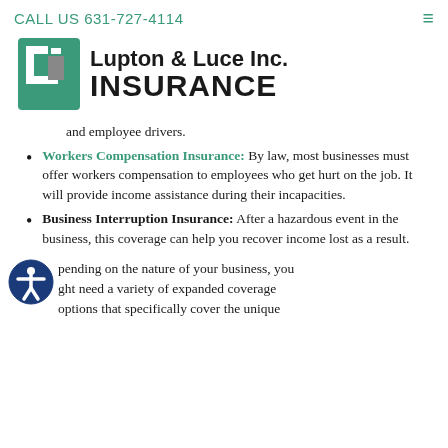CALL US 631-727-4114
[Figure (logo): Lupton & Luce Inc. Insurance logo with green square icon containing stylized letter i]
and employee drivers.
Workers Compensation Insurance: By law, most businesses must offer workers compensation to employees who get hurt on the job. It will provide income assistance during their incapacities.
Business Interruption Insurance: After a hazardous event in the business, this coverage can help you recover income lost as a result.
pending on the nature of your business, you ght need a variety of expanded coverage options that specifically cover the unique